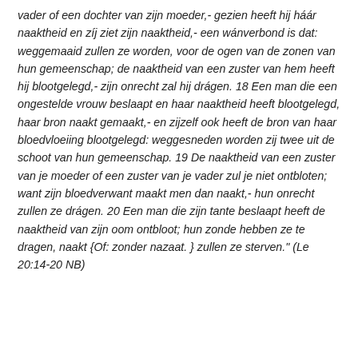vader of een dochter van zijn moeder,- gezien heeft hij háár naaktheid en zíj ziet zijn naaktheid,- een wánverbond is dat: weggemaaid zullen ze worden, voor de ogen van de zonen van hun gemeenschap; de naaktheid van een zuster van hem heeft hij blootgelegd,- zijn onrecht zal hij drágen. 18 Een man die een ongestelde vrouw beslaapt en haar naaktheid heeft blootgelegd, haar bron naakt gemaakt,- en zijzelf ook heeft de bron van haar bloedvloeiing blootgelegd: weggesneden worden zij twee uit de schoot van hun gemeenschap. 19 De naaktheid van een zuster van je moeder of een zuster van je vader zul je niet ontbloten; want zijn bloedverwant maakt men dan naakt,- hun onrecht zullen ze drágen. 20 Een man die zijn tante beslaapt heeft de naaktheid van zijn oom ontbloot; hun zonde hebben ze te dragen, naakt {Of: zonder nazaat. } zullen ze sterven." (Le 20:14-20 NB)